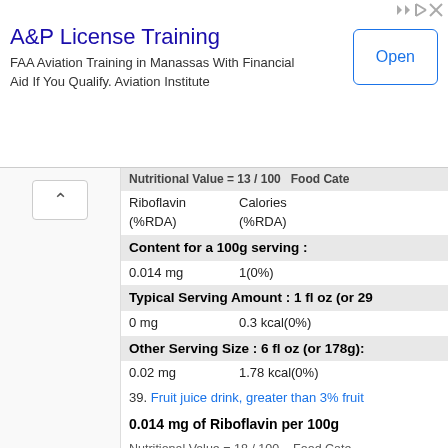[Figure (screenshot): Advertisement banner for A&P License Training — FAA Aviation Training in Manassas With Financial Aid If You Qualify. Aviation Institute. With an 'Open' button.]
Nutritional Value = 13 / 100   Food Cate
| Riboflavin (%RDA) | Calories (%RDA) |
| --- | --- |
Content for a 100g serving :
0.014 mg    1(0%)
Typical Serving Amount : 1 fl oz (or 29
0 mg    0.3 kcal(0%)
Other Serving Size : 6 fl oz (or 178g):
0.02 mg    1.78 kcal(0%)
39. Fruit juice drink, greater than 3% fruit
0.014 mg of Riboflavin per 100g
Nutritional Value = 18 / 100   Food Cate
| Riboflavin (%RDA) | Calories (%RDA) |
| --- | --- |
Content for a 100g serving :
0.014 mg    54(3%)
Typical Serving Amount : 8 fl oz (or 23
0.03 mg    127.98 kcal(6%)
40. Fruit juice drink, greater than 3% jui
0.014 mg of Riboflavin per 100g
Nutritional Value = 19 / 100   Food Cate